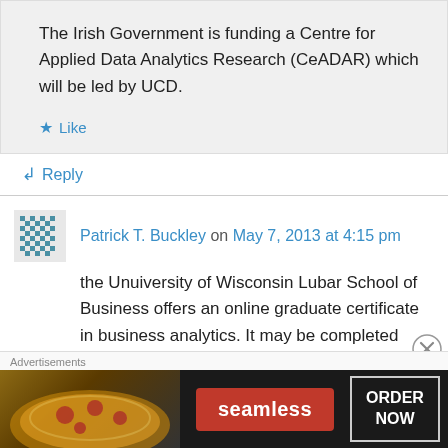The Irish Government is funding a Centre for Applied Data Analytics Research (CeADAR) which will be led by UCD.
★ Like
↪ Reply
Patrick T. Buckley on May 7, 2013 at 4:15 pm
the Unuiversity of Wisconsin Lubar School of Business offers an online graduate certificate in business analytics. It may be completed alone, or in combination with our MBA program or MS
Advertisements
[Figure (screenshot): Seamless food delivery advertisement banner showing pizza image, Seamless logo in red, and ORDER NOW button]